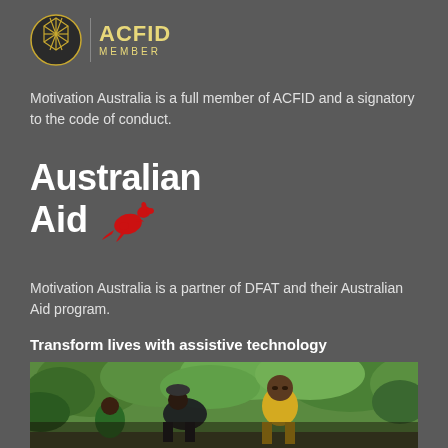[Figure (logo): ACFID Member logo: golden hexagonal geometric circle icon beside a vertical divider and 'ACFID MEMBER' text in gold]
Motivation Australia is a full member of ACFID and a signatory to the code of conduct.
[Figure (logo): Australian Aid logo: bold white text 'Australian Aid' with a red kangaroo icon on a dark grey background]
Motivation Australia is a partner of DFAT and their Australian Aid program.
Transform lives with assistive technology
[Figure (photo): Photo of people outdoors in a tropical setting with lush green trees. A person in dark clothing bends over toward a young man in a yellow shirt, appearing to assist or interact with him.]